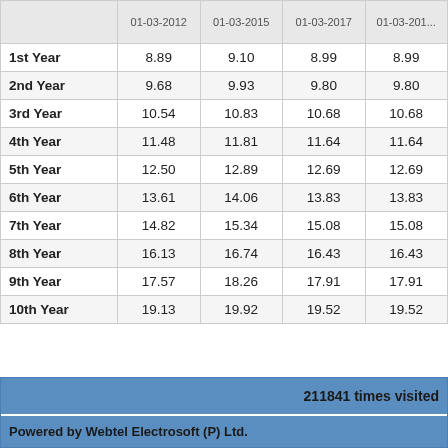|  | 01-03-2012 | 01-03-2015 | 01-03-2017 | 01-03-201... |
| --- | --- | --- | --- | --- |
| 1st Year | 8.89 | 9.10 | 8.99 | 8.99 |
| 2nd Year | 9.68 | 9.93 | 9.80 | 9.80 |
| 3rd Year | 10.54 | 10.83 | 10.68 | 10.68 |
| 4th Year | 11.48 | 11.81 | 11.64 | 11.64 |
| 5th Year | 12.50 | 12.89 | 12.69 | 12.69 |
| 6th Year | 13.61 | 14.06 | 13.83 | 13.83 |
| 7th Year | 14.82 | 15.34 | 15.08 | 15.08 |
| 8th Year | 16.13 | 16.74 | 16.43 | 16.43 |
| 9th Year | 17.57 | 18.26 | 17.91 | 17.91 |
| 10th Year | 19.13 | 19.92 | 19.52 | 19.52 |
211841 times visited
Powered by Webtel Electrosoft (P) Ltd.